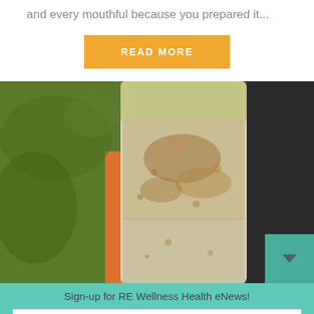and every mouthful because you prepared it...
READ MORE
[Figure (photo): Close-up photo of a glass jar containing layered food (appears to be overnight oats or fermented food) with green background foliage visible]
Sign-up for RE Wellness Health eNews!
Your email address...
GO